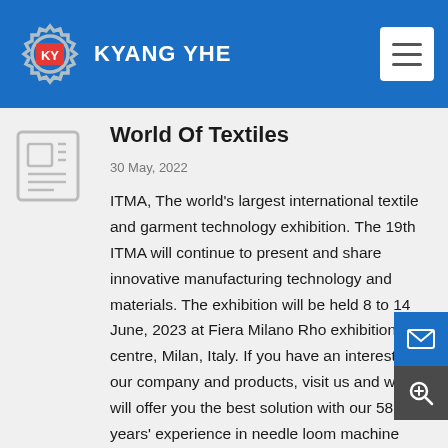KYANG YHE
World Of Textiles
30 May, 2022
ITMA, The world's largest international textile and garment technology exhibition. The 19th ITMA will continue to present and share innovative manufacturing technology and materials. The exhibition will be held 8 to 14 June, 2023 at Fiera Milano Rho exhibition centre, Milan, Italy. If you have an interest in our company and products, visit us and we will offer you the best solution with our 58 years' experience in needle loom machine industry. Welcome